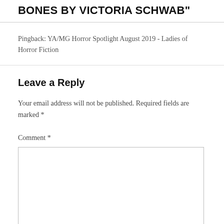THE INVISIBLE LIFE OF ADDIE LARUE & CITY OF GHOSTS/TUNNEL OF BONES BY VICTORIA SCHWAB"
Pingback: YA/MG Horror Spotlight August 2019 - Ladies of Horror Fiction
Leave a Reply
Your email address will not be published. Required fields are marked *
Comment *